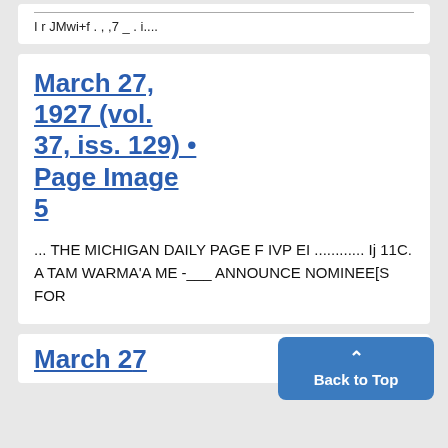I r JMwi+f . , ,7 _ . i....
March 27, 1927 (vol. 37, iss. 129) • Page Image 5
... THE MICHIGAN DAILY PAGE F IVP EI ............ Ij 11C. A TAM WARMA'A ME -___ ANNOUNCE NOMINEE[S FOR
March 27...